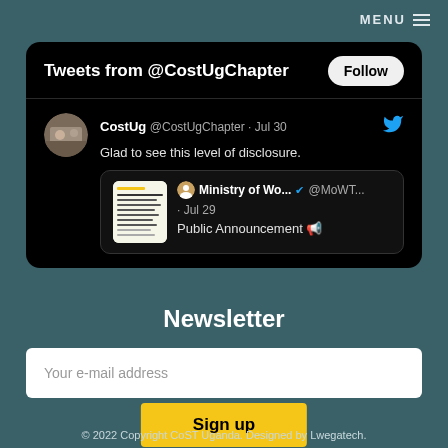MENU
[Figure (screenshot): Twitter widget showing tweets from @CostUgChapter with a Follow button, displaying a tweet by CostUg @CostUgChapter on Jul 30 saying 'Glad to see this level of disclosure.' with a quoted tweet from Ministry of Wo... @MoWT... Jul 29 saying 'Public Announcement 📢']
Newsletter
Your e-mail address
Sign up
© 2022 Copyright CoST Uganda. Designed by Lwegatech.